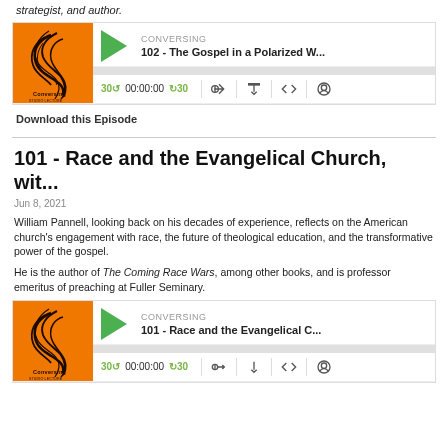strategist, and author.
[Figure (screenshot): Podcast player widget for episode 102 - The Gospel in a Polarized W... with album art, play button, time controls, and media icons. CONVERSING branding.]
Download this Episode
101 - Race and the Evangelical Church, wit...
Jun 8, 2021
William Pannell, looking back on his decades of experience, reflects on the American church's engagement with race, the future of theological education, and the transformative power of the gospel.
He is the author of The Coming Race Wars, among other books, and is professor emeritus of preaching at Fuller Seminary.
[Figure (screenshot): Podcast player widget for episode 101 - Race and the Evangelical C... with album art, play button, time controls, and media icons. CONVERSING branding.]